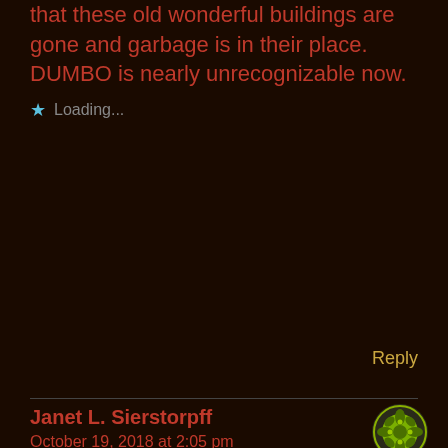that these old wonderful buildings are gone and garbage is in their place. DUMBO is nearly unrecognizable now.
Loading...
Reply
Janet L. Sierstorpff
October 19, 2018 at 2:05 pm
[Figure (illustration): Green circular decorative avatar icon with floral/geometric pattern]
Just finishing Exile on Bridge Street...Read Both Light of the Diddicoy and Exile on Bridge St...twice...Peg Leg Lonergan was my great uncle...
Loading...